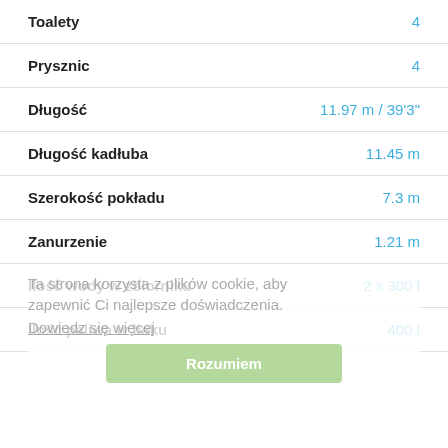Toalety	4
Prysznic	4
Długość	11.97 m / 39'3"
Długość kadłuba	11.45 m
Szerokość pokładu	7.3 m
Zanurzenie	1.21 m
Ilość wody w zbiorniku	2 x 300 l
Ilość paliwa w baku	400 l
Ta strona korzysta z plików cookie, aby zapewnić Ci najlepsze doświadczenia.
Dowiedz się więcej
Rozumiem